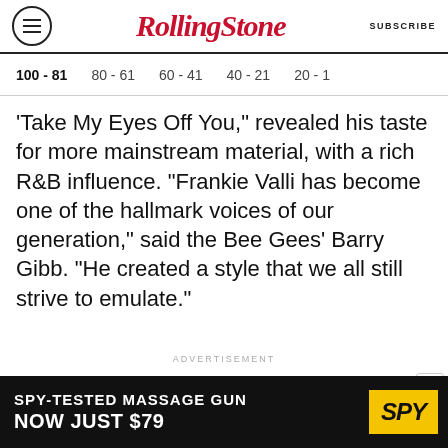RollingStone
100 - 81  80 - 61  60 - 41  40 - 21  20 - 1
"Take My Eyes Off You," revealed his taste for more mainstream material, with a rich R&B influence. "Frankie Valli has become one of the hallmark voices of our generation," said the Bee Gees' Barry Gibb. "He created a style that we all still strive to emulate."
ADVERTISEMENT
[Figure (other): SPY advertisement banner: SPY-TESTED MASSAGE GUN NOW JUST $79 with SPY logo on yellow background]